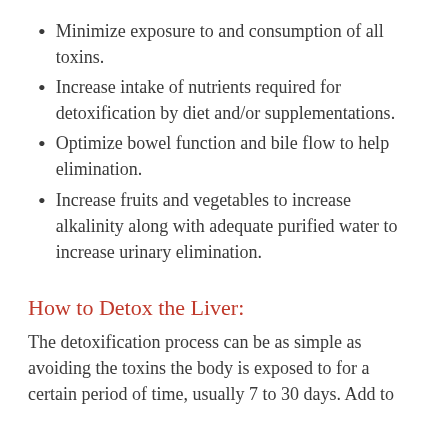Minimize exposure to and consumption of all toxins.
Increase intake of nutrients required for detoxification by diet and/or supplementations.
Optimize bowel function and bile flow to help elimination.
Increase fruits and vegetables to increase alkalinity along with adequate purified water to increase urinary elimination.
How to Detox the Liver:
The detoxification process can be as simple as avoiding the toxins the body is exposed to for a certain period of time, usually 7 to 30 days. Add to